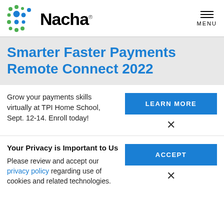[Figure (logo): Nacha logo with colorful dot pattern and wordmark]
Smarter Faster Payments Remote Connect 2022
Grow your payments skills virtually at TPI Home School, Sept. 12-14. Enroll today!
Your Privacy is Important to Us
Please review and accept our privacy policy regarding use of cookies and related technologies.